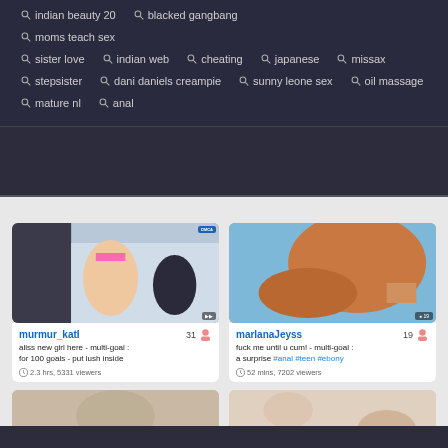indian beauty 20
blacked gangbang
moms teach sex
sister love
indian web
cheating
japanese
missax
stepsister
dani daniels creampie
sunny leone sex
oil massage
mature nl
anal
[Figure (screenshot): Webcam stream thumbnail for murmur_katI showing two women in a kitchen setting]
murmur_katI  31
aliss new girl here - multi-goal : for 100 goals - put lush inside
2.3 hrs, 5331 viewers
[Figure (screenshot): Webcam stream thumbnail for marlanaJeyss showing a woman on a blue surface]
marlanaJeyss  19
fuck me until u cum! - multi-goal : a surprise #anal #teen #ebony
52 mins, 7202 viewers
[Figure (screenshot): Partially visible webcam stream thumbnail bottom left]
[Figure (screenshot): Partially visible webcam stream thumbnail bottom right]